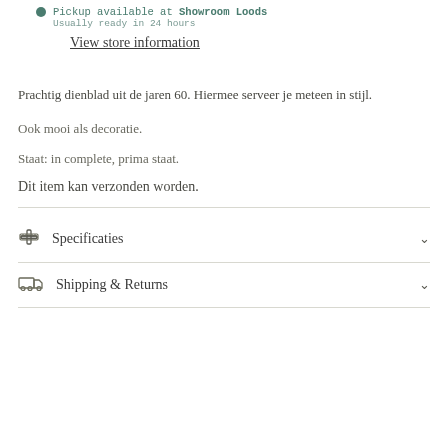Pickup available at Showroom Loods. Usually ready in 24 hours
View store information
Prachtig dienblad uit de jaren 60. Hiermee serveer je meteen in stijl.
Ook mooi als decoratie.
Staat: in complete, prima staat.
Dit item kan verzonden worden.
Specificaties
Shipping & Returns